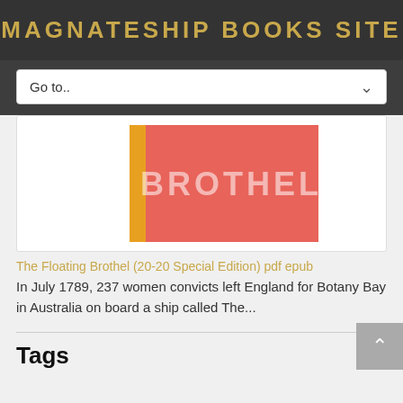MAGNATESHIP BOOKS SITE
[Figure (screenshot): Navigation dropdown with 'Go to..' label and a chevron arrow on the right]
[Figure (illustration): Book cover for 'The Floating Brothel' with coral/salmon pink background, bold white text 'BROTHEL', and orange/yellow left stripe]
The Floating Brothel (20-20 Special Edition) pdf epub
In July 1789, 237 women convicts left England for Botany Bay in Australia on board a ship called The...